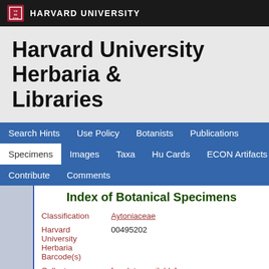HARVARD UNIVERSITY
Harvard University Herbaria & Libraries
Search Hints  Use Policy  Botanists  Publications  Specimens  Images  Taxa  Hu Cards  ECON Artifacts  Contribute  Comments
Index of Botanical Specimens
| Field | Value |
| --- | --- |
| Classification | Aytoniaceae |
| Harvard University Herbaria Barcode(s) | 00495202 |
| Collector | [no data available] |
| Country | United States of America |
| State | Vermont |
| Geography | North America: North America (CA, US, MX) (Region): United States of America: Vermont |